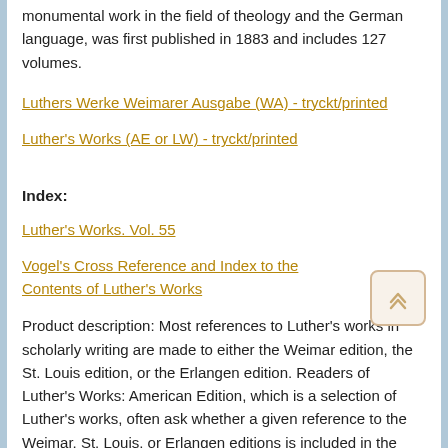monumental work in the field of theology and the German language, was first published in 1883 and includes 127 volumes.
Luthers Werke Weimarer Ausgabe (WA) - tryckt/printed
Luther's Works (AE or LW) - tryckt/printed
Index:
Luther's Works. Vol. 55
Vogel's Cross Reference and Index to the Contents of Luther's Works
Product description: Most references to Luther's works in scholarly writing are made to either the Weimar edition, the St. Louis edition, or the Erlangen edition. Readers of Luther's Works: American Edition, which is a selection of Luther's works, often ask whether a given reference to the Weimar, St. Louis, or Erlangen editions is included in the American edition. This cross reference facilitates finding such references in volumes 1–54 of Luther's Works: American Edition.
Hilfsbuch zum Lutherstudium / Kurt Aland
Das Hilfsbuch zum Lutherstudium ist seit Jahrzehnten das Standardwerk der Lutherforschung, mit dessen Hilfe die unüberschaubare Fülle der